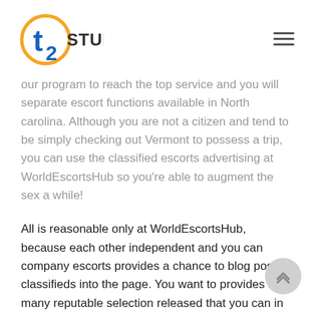T2 STUDIO
our program to reach the top service and you will separate escort functions available in North carolina. Although you are not a citizen and tend to be simply checking out Vermont to possess a trip, you can use the classified escorts advertising at WorldEscortsHub so you're able to augment the sex a while!
All is reasonable only at WorldEscortsHub, because each other independent and you can company escorts provides a chance to blog post its classifieds into the page. You want to provides as many reputable selection released that you can in regards to our pages, while the assortment is crucial in life! Everything you feel sense this evening try irrelevant, since the we will feel the best match regardless of. Have fun with WorldEscortsHub to obtain the primary companion now, it doesn't matter if they're separate or